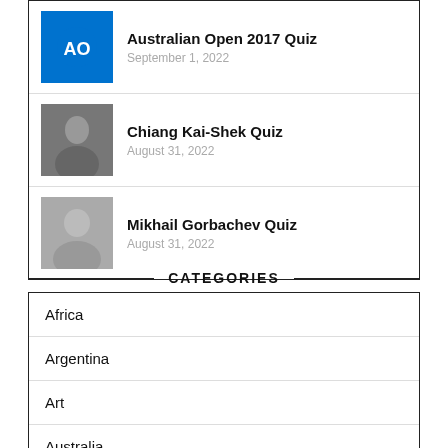Australian Open 2017 Quiz
September 1, 2022
Chiang Kai-Shek Quiz
August 31, 2022
Mikhail Gorbachev Quiz
August 31, 2022
CATEGORIES
Africa
Argentina
Art
Australia